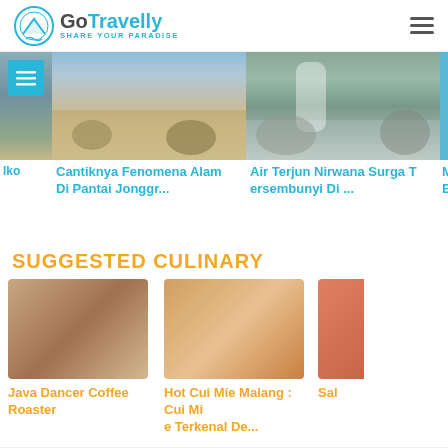GoTravelly SHARE YOUR PARADISE
[Figure (screenshot): Horizontal scrolling card carousel showing beach/nature photos: partial left card (Iko), Cantiknya Fenomena Alam Di Pantai Jonggr..., Air Terjun Nirwana Surga Tersembunyi Di ..., partially visible third card (Me/Bea)]
SUGGESTED CULINARY
[Figure (screenshot): Culinary card: Java Dancer Coffee Roaster]
[Figure (screenshot): Culinary card: Hot Cui Mie Malang : Cui Mie Terkenal De...]
[Figure (screenshot): Partial culinary card: Sal...]
[Figure (logo): GoTravelly logo in footer area, large cyan text]